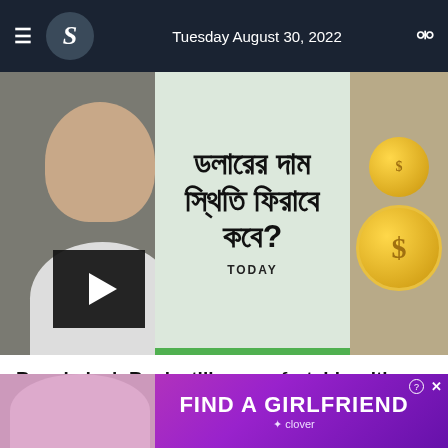Tuesday August 30, 2022
[Figure (screenshot): News thumbnail showing a man with Bengali text reading dollar rate stability question, gold dollar coins, play button overlay, and TODAY label]
Bangladesh Bank still uncomfortable with dollar rate
12h | Videos
[Figure (photo): Bottom portion of another article preview with blue banner visible]
[Figure (other): Advertisement banner: FIND A GIRLFRIEND with Clover branding on purple/pink background]